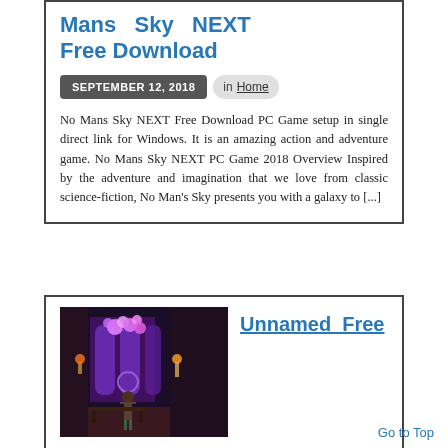Mans Sky NEXT Free Download
SEPTEMBER 12, 2018  in Home
No Mans Sky NEXT Free Download PC Game setup in single direct link for Windows. It is an amazing action and adventure game. No Mans Sky NEXT PC Game 2018 Overview Inspired by the adventure and imagination that we love from classic science-fiction, No Man's Sky presents you with a galaxy to [...]
[Figure (screenshot): Screenshot of a video game showing a character standing in a dark gothic hall with large arched purple-lit windows and glowing orbs near the ceiling]
Unnamed Free
Go to Top